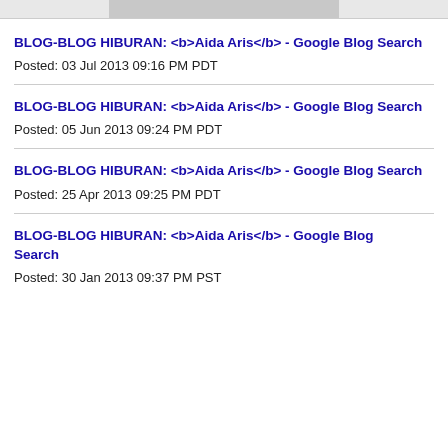[Figure (photo): Partial image strip at top of page showing cropped photo content]
BLOG-BLOG HIBURAN: <b>Aida Aris</b> - Google Blog Search
Posted: 03 Jul 2013 09:16 PM PDT
BLOG-BLOG HIBURAN: <b>Aida Aris</b> - Google Blog Search
Posted: 05 Jun 2013 09:24 PM PDT
BLOG-BLOG HIBURAN: <b>Aida Aris</b> - Google Blog Search
Posted: 25 Apr 2013 09:25 PM PDT
BLOG-BLOG HIBURAN: <b>Aida Aris</b> - Google Blog Search
Posted: 30 Jan 2013 09:37 PM PST